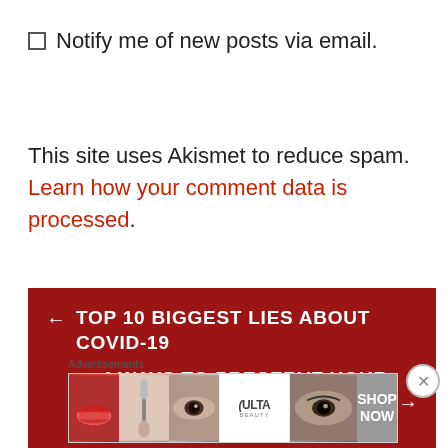Notify me of new posts via email.
This site uses Akismet to reduce spam. Learn how your comment data is processed.
← TOP 10 BIGGEST LIES ABOUT COVID-19
4 WAYS TO PRESERVE YOUR HARVEST WITHOUT CANNING →
Advertisements
[Figure (other): Ulta Beauty advertisement banner with makeup/beauty imagery and 'SHOP NOW' call to action]